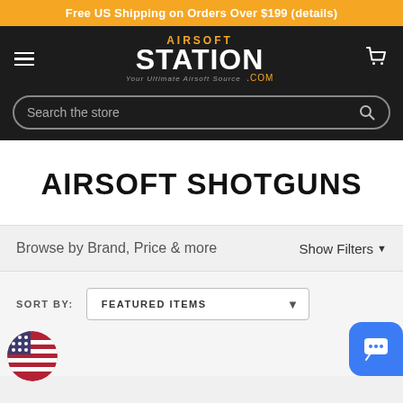Free US Shipping on Orders Over $199 (details)
[Figure (logo): Airsoft Station logo with orange 'AIRSOFT' text and white 'STATION' in large bold font, with '.com' in orange and tagline 'Your Ultimate Airsoft Source']
AIRSOFT SHOTGUNS
Browse by Brand, Price & more    Show Filters
SORT BY: FEATURED ITEMS